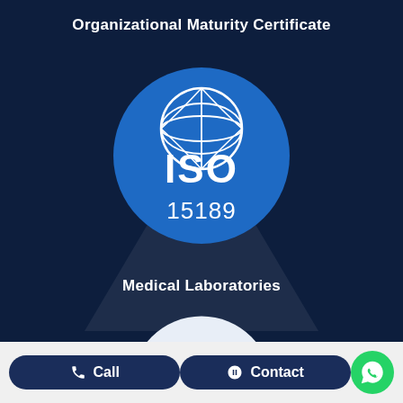Organizational Maturity Certificate
[Figure (logo): ISO 15189 logo: blue circle with globe grid pattern and bold white text 'ISO' and '15189']
Medical Laboratories
[Figure (logo): Second ISO logo partially visible at bottom (white circle with blue ISO globe icon and partial text 'ISO 27001' or similar)]
Call
Contact